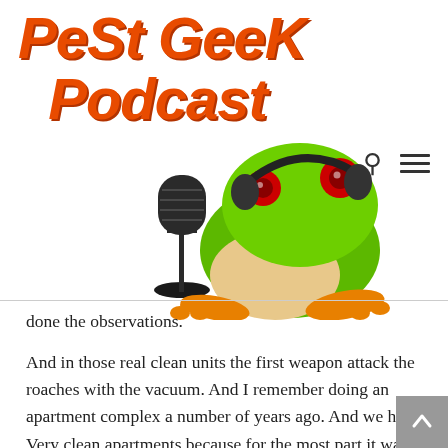[Figure (logo): Pest Geek Podcast logo with a green tree frog wearing headphones speaking into a vintage microphone, with orange stylized text 'Pest Geek Podcast' above]
done the observations.
And in those real clean units the first weapon attack the roaches with the vacuum. And I remember doing an apartment complex a number of years ago. And we had. Very clean apartments because for the most part it was a once in an old folks apartment complex but it was for retirees very active all the units were clean. This particular complex only